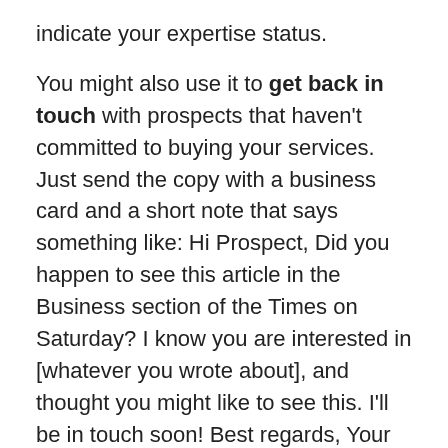indicate your expertise status.
You might also use it to get back in touch with prospects that haven't committed to buying your services. Just send the copy with a business card and a short note that says something like: Hi Prospect, Did you happen to see this article in the Business section of the Times on Saturday? I know you are interested in [whatever you wrote about], and thought you might like to see this. I'll be in touch soon! Best regards, Your Name.
Write and submit articles for publication in other media. Yes, absolutely, once your business is noted in one publication, others might be interested in reprinting it. Be sure to mention the publicity when you distribute an article about your services to online article banks, ezines, and information sites for reprinting. Or submit it to the